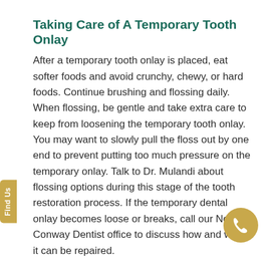Taking Care of A Temporary Tooth Onlay
After a temporary tooth onlay is placed, eat softer foods and avoid crunchy, chewy, or hard foods. Continue brushing and flossing daily. When flossing, be gentle and take extra care to keep from loosening the temporary tooth onlay. You may want to slowly pull the floss out by one end to prevent putting too much pressure on the temporary onlay. Talk to Dr. Mulandi about flossing options during this stage of the tooth restoration process. If the temporary dental onlay becomes loose or breaks, call our North Conway Dentist office to discuss how and when it can be repaired.
Care After a Permanent Dental Onlay at Eastern Slope Dental
It's important to avoid chewing on foods that